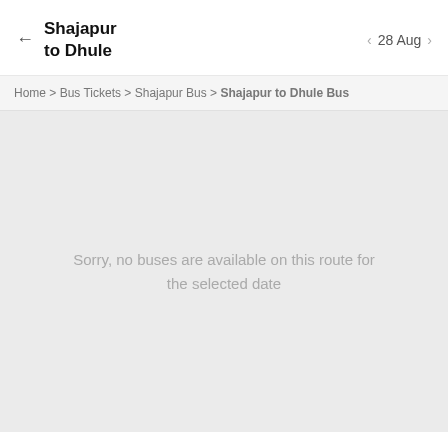Shajapur to Dhule | 28 Aug
Home > Bus Tickets > Shajapur Bus > Shajapur to Dhule Bus
Sorry, no buses are available on this route for the selected date